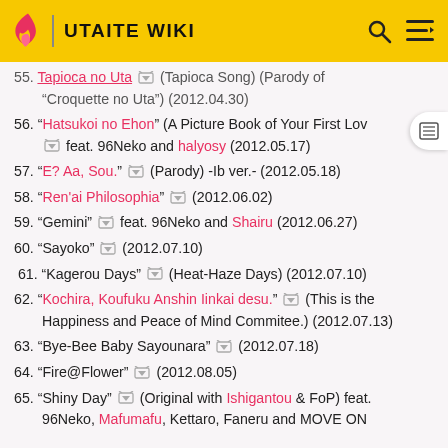UTAITE WIKI
55. "Tapioca no Uta" 🖼 (Tapioca Song) (Parody of "Croquette no Uta") (2012.04.30)
56. "Hatsukoi no Ehon" (A Picture Book of Your First Love) 🖼 feat. 96Neko and halyosy (2012.05.17)
57. "E? Aa, Sou." 🖼 (Parody) -Ib ver.- (2012.05.18)
58. "Ren'ai Philosophia" 🖼 (2012.06.02)
59. "Gemini" 🖼 feat. 96Neko and Shairu (2012.06.27)
60. "Sayoko" 🖼 (2012.07.10)
61. "Kagerou Days" 🖼 (Heat-Haze Days) (2012.07.10)
62. "Kochira, Koufuku Anshin Iinkai desu." 🖼 (This is the Happiness and Peace of Mind Commitee.) (2012.07.13)
63. "Bye-Bee Baby Sayounara" 🖼 (2012.07.18)
64. "Fire@Flower" 🖼 (2012.08.05)
65. "Shiny Day" 🖼 (Original with Ishigantou & FoP) feat. 96Neko, Mafumafu, Kettaro, Faneru and MOVE ON